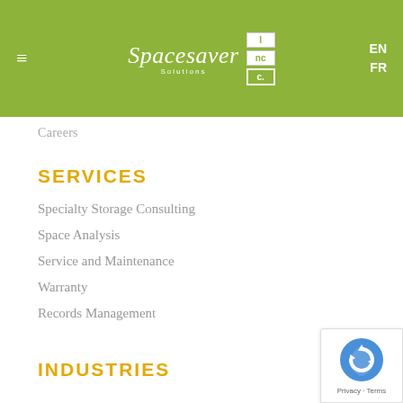Spacesaver Solutions Inc. — EN / FR
Careers
SERVICES
Specialty Storage Consulting
Space Analysis
Service and Maintenance
Warranty
Records Management
INDUSTRIES
[Figure (logo): reCAPTCHA logo with Privacy and Terms links]